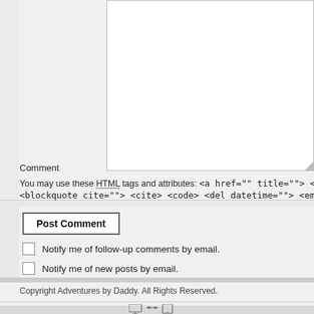Comment
You may use these HTML tags and attributes: <a href="" title=""> <abbr ti... <blockquote cite=""> <cite> <code> <del datetime=""> <em> <i> <q c...
Post Comment
Notify me of follow-up comments by email.
Notify me of new posts by email.
Copyright Adventures by Daddy. All Rights Reserved.